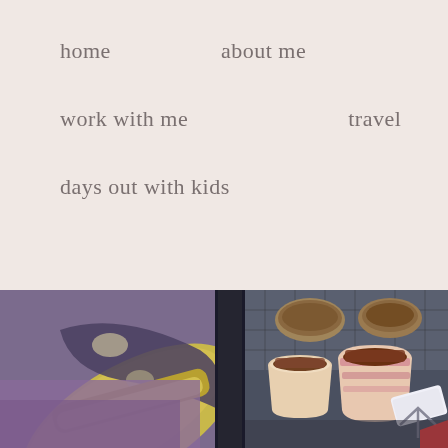home   about me   work with me   travel   days out with kids
[Figure (photo): Blurred close-up photo of food items and shoes/sneakers at what appears to be a market or food stall. Left side shows a large yellow/gold sneaker sole and purple fabric; right side shows small pots/cups of food on a tray with a dark background.]